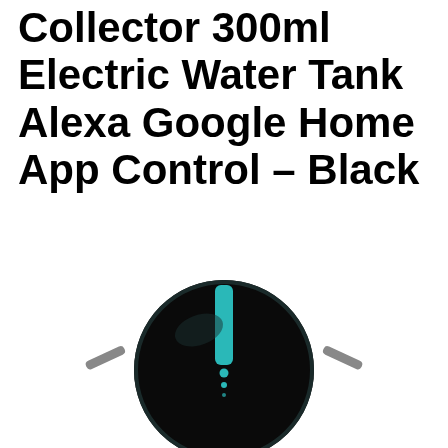Collector 300ml Electric Water Tank Alexa Google Home App Control – Black
[Figure (photo): Top-down view of a black circular robot vacuum cleaner with teal/cyan stripe detail and two side brushes extending left and right]